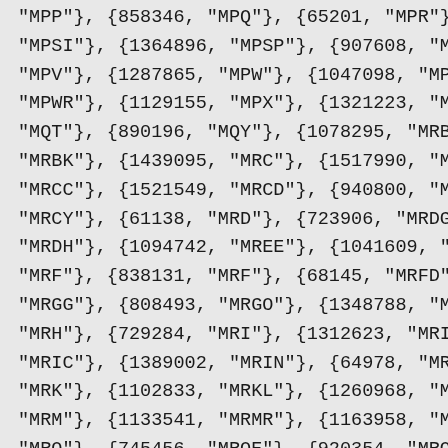"MPP"}, {858346, "MPQ"}, {65201, "MPR"},
"MPSI"}, {1364896, "MPSP"}, {907608, "MP
"MPV"}, {1287865, "MPW"}, {1047098, "MPW
"MPWR"}, {1129155, "MPX"}, {1321223, "MQ
"MQT"}, {890196, "MQY"}, {1078295, "MRBA
"MRBK"}, {1439095, "MRC"}, {1517990, "MR
"MRCC"}, {1521549, "MRCD"}, {940800, "MR
"MRCY"}, {61138, "MRD"}, {723906, "MRDG"
"MRDH"}, {1094742, "MREE"}, {1041609, "M
"MRF"}, {838131, "MRF"}, {68145, "MRFD"}
"MRGG"}, {808493, "MRGO"}, {1348788, "MR
"MRH"}, {729284, "MRI"}, {1312623, "MRIB
"MRIC"}, {1389002, "MRIN"}, {64978, "MRK
"MRK"}, {1102833, "MRKL"}, {1260968, "MR
"MRM"}, {1133541, "MRMR"}, {1163958, "MR
"MRO"}, {745456, "MROE"}, {920354, "MROI